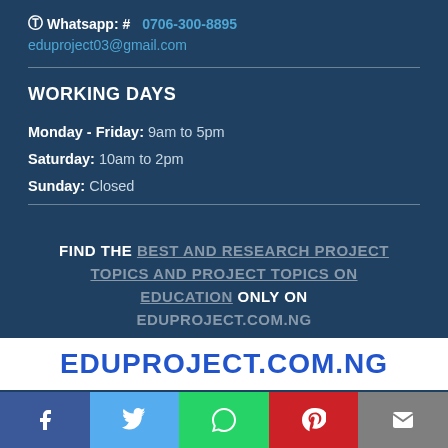Whatsapp: # 0706-300-8895
eduproject03@gmail.com
WORKING DAYS
Monday - Friday: 9am to 5pm
Saturday: 10am to 2pm
Sunday: Closed
FIND THE BEST AND RESEARCH PROJECT TOPICS AND PROJECT TOPICS ON EDUCATION ONLY ON EDUPROJECT.COM.NG
EDUPROJECT.COM.NG
Social sharing bar: Facebook, Twitter, WhatsApp, Pinterest, Email